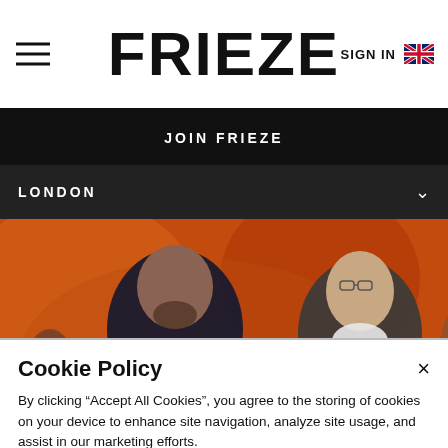FRIEZE
JOIN FRIEZE
LONDON
[Figure (photo): Two men standing in front of an orange background. A younger man with dark beard on the left and an older man with glasses on the right. Caption reads: Hetain Patel]
Hetain Patel
Cookie Policy
By clicking “Accept All Cookies”, you agree to the storing of cookies on your device to enhance site navigation, analyze site usage, and assist in our marketing efforts.
Cookies Settings
Accept All Cookies